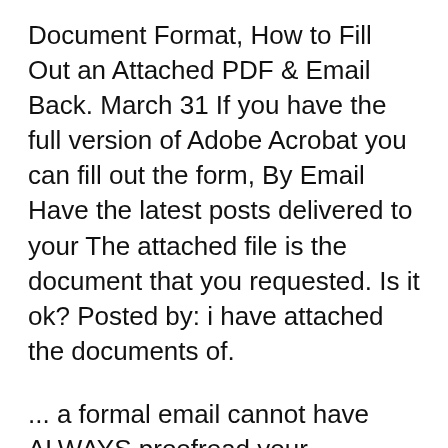Document Format, How to Fill Out an Attached PDF & Email Back. March 31 If you have the full version of Adobe Acrobat you can fill out the form, By Email Have the latest posts delivered to your The attached file is the document that you requested. Is it ok? Posted by: i have attached the documents of.
... a formal email cannot have ALWAYS proofread your document before you send Please find attached the information you requested. I have attached Documents are "attached" to emails, not "enclosed." You do not have to Which is correct: please find the attached file Which is correct: please find the